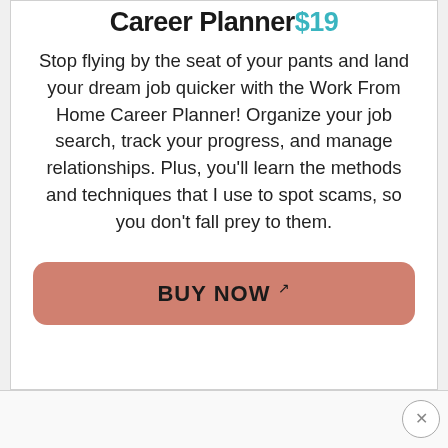Career Planner $19
Stop flying by the seat of your pants and land your dream job quicker with the Work From Home Career Planner! Organize your job search, track your progress, and manage relationships. Plus, you'll learn the methods and techniques that I use to spot scams, so you don't fall prey to them.
BUY NOW